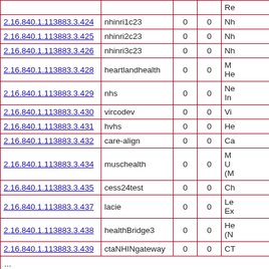| OID | Name | col3 | col4 | Re... |
| --- | --- | --- | --- | --- |
| 2.16.840.1.113883.3.424 | nhinri1c23 | 0 | 0 | Nh... |
| 2.16.840.1.113883.3.425 | nhinri2c23 | 0 | 0 | Nh... |
| 2.16.840.1.113883.3.426 | nhinri3c23 | 0 | 0 | Nh... |
| 2.16.840.1.113883.3.428 | heartlandhealth | 0 | 0 | M... He... |
| 2.16.840.1.113883.3.429 | nhs | 0 | 0 | No... In... |
| 2.16.840.1.113883.3.430 | vircodev | 0 | 0 | Vi... |
| 2.16.840.1.113883.3.431 | hvhs | 0 | 0 | He... |
| 2.16.840.1.113883.3.432 | care-align | 0 | 0 | Ca... |
| 2.16.840.1.113883.3.434 | muschealth | 0 | 0 | M... Un... (M... |
| 2.16.840.1.113883.3.435 | cess24test | 0 | 0 | Ch... |
| 2.16.840.1.113883.3.437 | lacie | 0 | 0 | Le... Ex... |
| 2.16.840.1.113883.3.438 | healthBridge3 | 0 | 0 | He... (N... |
| 2.16.840.1.113883.3.439 | ctaNHINgateway | 0 | 0 | CT... |
| ... |  |  |  |  |